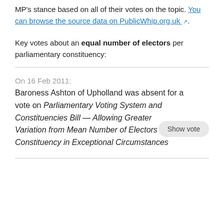MP's stance based on all of their votes on the topic. You can browse the source data on PublicWhip.org.uk.
Key votes about an equal number of electors per parliamentary constituency:
On 16 Feb 2011:
Baroness Ashton of Upholland was absent for a vote on Parliamentary Voting System and Constituencies Bill — Allowing Greater Variation from Mean Number of Electors in MP Constituency in Exceptional Circumstances